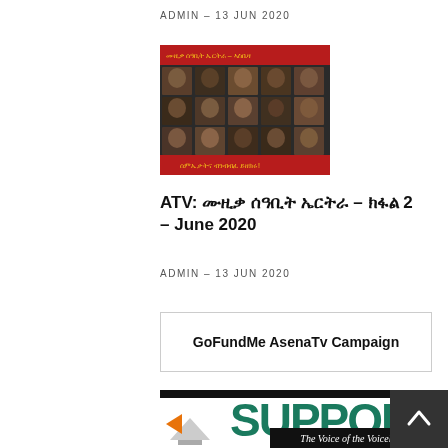ADMIN – 13 JUN 2020
[Figure (photo): Thumbnail image with a grid of faces, red header bar with Amharic/Tigrinya text and red footer bar with text]
ATV: ሙዚቃ ሰዓቢት ኤርትራ – ክፋል 2 – June 2020
ADMIN – 13 JUN 2020
GoFundMe AsenaTv Campaign
[Figure (illustration): Support banner image showing the word SUPPORT in large green text with a TV icon and tagline 'The Voice of the Voiceless' on black background]